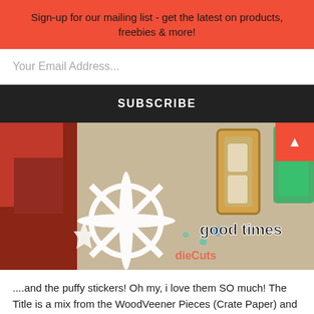Sign-up for our mailing list - get the latest on products, freebies & more!
Your Email Address...
SUBSCRIBE
[Figure (photo): Scrapbooking craft photo showing paper die cuts, puffy stickers, snowflake cutouts, and wooden veneer letters spelling out 'good times' on a layered background.]
....and the puffy stickers! Oh my, i love them SO much! The Title is a mix from the WoodVeener Pieces (Crate Paper) and the DieCuts